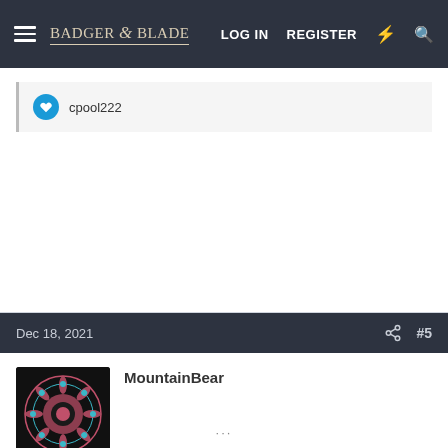Badger & Blade — LOG IN  REGISTER
cpool222
Dec 18, 2021  #5
MountainBear